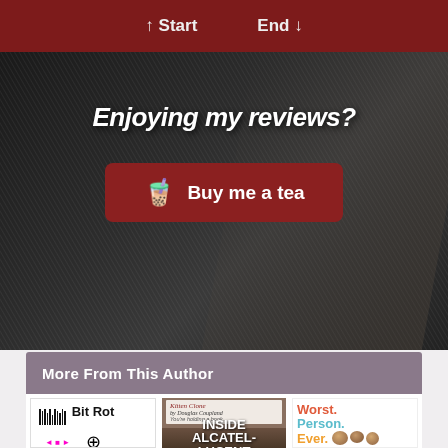↑ Start   End ↓
Enjoying my reviews?
☕ Buy me a tea
More From This Author
[Figure (illustration): Book cover: Bit Rot by Douglas Coupland — white cover with black title, barcode, and color calibration strip]
[Figure (illustration): Book cover: Kitten Clone / Inside Alcatel-Lucent by Douglas Coupland — dark photographic cover with white text]
[Figure (illustration): Book cover: Worst. Person. Ever. by Douglas Coupland — multicolor text on white with macadamia nuts]